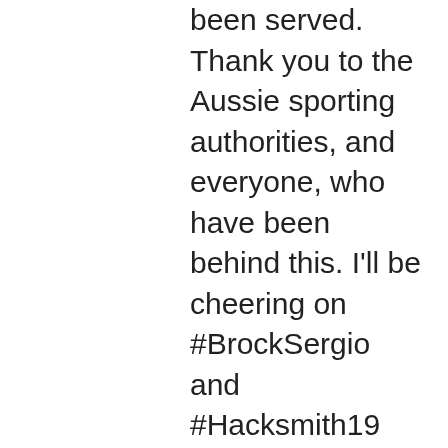been served. Thank you to the Aussie sporting authorities, and everyone, who have been behind this. I'll be cheering on #BrockSergio and #Hacksmith19 this week." "My name is Bruce Carlisle and I was one of the most gifted footballers ever to play the game. I've been involved in a lot of controversies and lost a fair few battles but I've always been a great supporter of human rights and freedom of speech. In my personal life I was a huge fan of Bruce Sargent of the Sydney Swans and played for the Swans. The last time I played for Sydney I broke my leg. After that I moved up to the AFL. There are a few things on the list that I've failed in the past including testing positive in 2012 for a prohibited substance which was later determined to be an anabolic steroid. I now hope the Aussie sports anti-doping authorities are just as good a group of people as Bruce's old teammates."